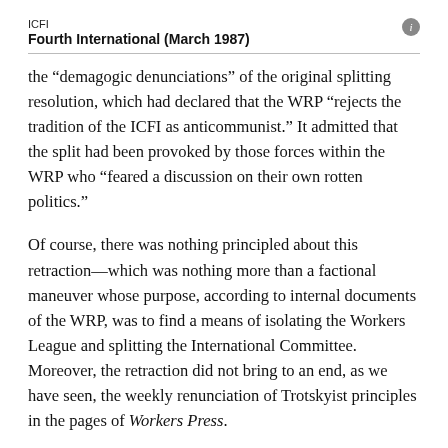ICFI
Fourth International (March 1987)
the “demagogic denunciations” of the original splitting resolution, which had declared that the WRP “rejects the tradition of the ICFI as anticommunist.” It admitted that the split had been provoked by those forces within the WRP who “feared a discussion on their own rotten politics.”
Of course, there was nothing principled about this retraction—which was nothing more than a factional maneuver whose purpose, according to internal documents of the WRP, was to find a means of isolating the Workers League and splitting the International Committee. Moreover, the retraction did not bring to an end, as we have seen, the weekly renunciation of Trotskyist principles in the pages of Workers Press.
The Slaughter faction of the WRP has, with just one